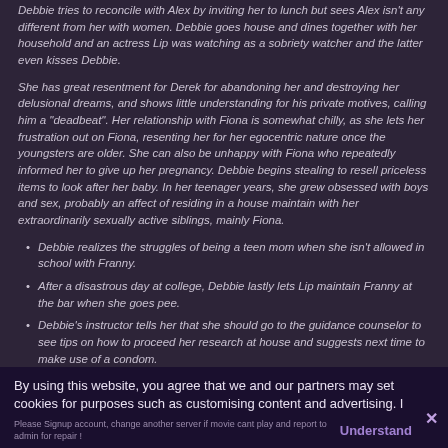Debbie tries to reconcile with Alex by inviting her to lunch but sees Alex isn't any different from her with women. Debbie goes house and dines together with her household and an actress Lip was watching as a sobriety watcher and the latter even kisses Debbie.
She has great resentment for Derek for abandoning her and destroying her delusional dreams, and shows little understanding for his private motives, calling him a "deadbeat". Her relationship with Fiona is somewhat chilly, as she lets her frustration out on Fiona, resenting her for her egocentric nature once the youngsters are older. She can also be unhappy with Fiona who repeatedly informed her to give up her pregnancy. Debbie begins stealing to resell priceless items to look after her baby. In her teenager years, she grew obsessed with boys and sex, probably an affect of residing in a house maintain with her extraordinarily sexually active siblings, mainly Fiona.
Debbie realizes the struggles of being a teen mom when she isn't allowed in school with Franny.
After a disastrous day at college, Debbie lastly lets Lip maintain Franny at the bar when she goes pee.
Debbie's instructor tells her that she should go to the guidance counselor to see tips on how to proceed her research at house and suggests next time to make use of a condom.
Debbie Gallagher (U.S.)
By using this website, you agree that we and our partners may set cookies for purposes such as customising content and advertising. I Understand
Please Signup account, change another server if movie cant play and report to admin for repair !